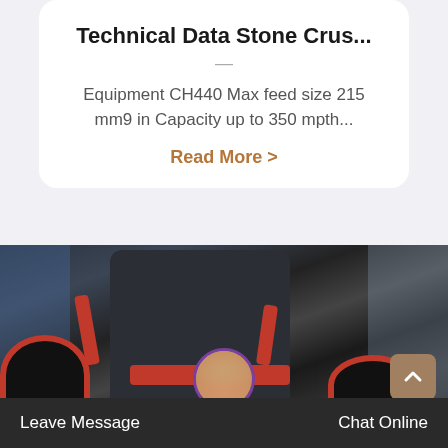Technical Data Stone Crus...
Equipment CH440 Max feed size 215 mm9 in Capacity up to 350 mpth...
Read More >
[Figure (photo): Industrial stone crusher machine with dark grey cylindrical body, red mechanical arms and base assembly, large pulley wheels, in a manufacturing facility.]
Leave Message
Chat Online